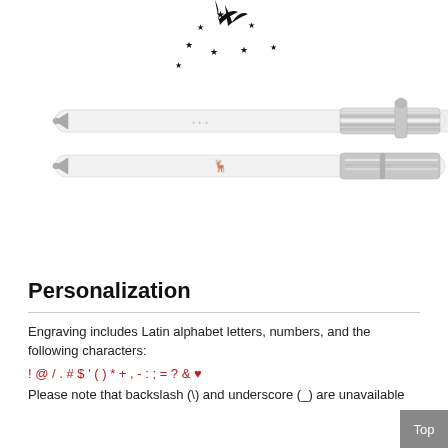[Figure (photo): Product photo showing two white ballpoint pens with chrome/silver metallic clip ends. The top pen is open/uncapped with a visible tip, and the bottom pen has its cap on. Both pens feature a small reindeer/deer logo engraved on the barrel and scattered star decorations at the top of the image. The chrome ends have horizontal stripe detailing.]
Personalization
Engraving includes Latin alphabet letters, numbers, and the following characters:
! @ / . # $ ' ( ) * + , - : ; = ? & ♥
Please note that backslash (\) and underscore (_) are unavailable